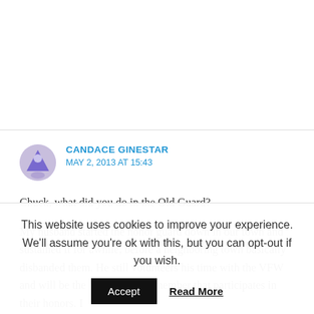CANDACE GINESTAR
MAY 2, 2013 AT 15:43
Chuck, what did you do in the Old Guard?
My husband started the honor guard down in our town and sustained it for awhile, before a neighboring town basically disbanded them. He still volunteers his time with the VFW and will be the 'active' servicemember that participates in their honors. I
This website uses cookies to improve your experience. We'll assume you're ok with this, but you can opt-out if you wish.
Accept
Read More